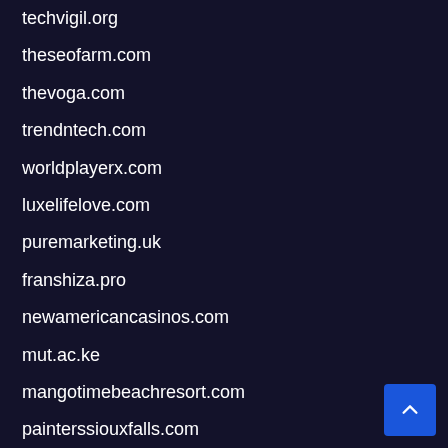techvigil.org
theseofarm.com
thevoga.com
trendntech.com
worldplayerx.com
luxelifelove.com
puremarketing.uk
franshiza.pro
newamericancasinos.com
mut.ac.ke
mangotimebeachresort.com
painterssiouxfalls.com
perfume-empire.com/collections/ed-hardy
firstaidphonerepair.com
needleninja.shop